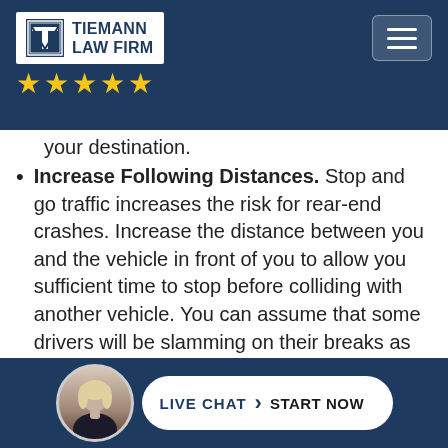Tiemann Law Firm
your destination.
Increase Following Distances. Stop and go traffic increases the risk for rear-end crashes. Increase the distance between you and the vehicle in front of you to allow you sufficient time to stop before colliding with another vehicle. You can assume that some drivers will be slamming on their breaks as they speed up and stop suddenly over and over again as they try to get through congested traffic.
Don't Drink and Drive. Alcohol is often a
[Figure (photo): Live chat button with attorney avatar photo and text LIVE CHAT START NOW]